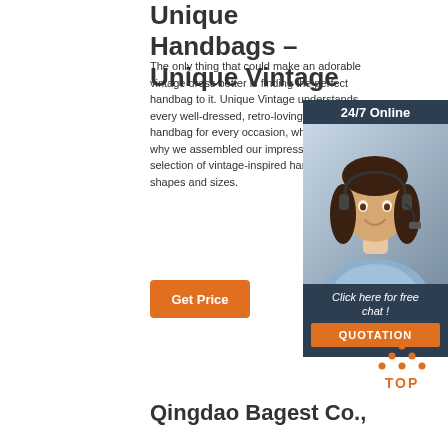Unique Handbags – Unique Vintage
The only thing that could make an adorable vintage dress better is finding the perfect handbag to it. Unique Vintage understands every well-dressed, retro-loving needs a handbag for every occasion, which is exactly why we assembled our impressively large selection of vintage-inspired handbags in all shapes and sizes.
[Figure (other): Chat widget showing a customer service representative with headset, dark navy background, text '24/7 Online', 'Click here for free chat!', and an orange QUOTATION button]
[Figure (other): Orange dotted triangle 'TOP' button for scrolling to top of page]
Qingdao Bagest Co.,